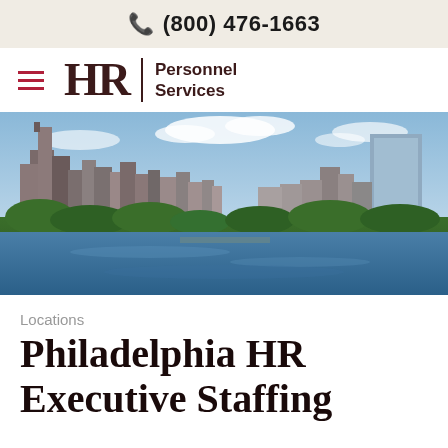(800) 476-1663
[Figure (logo): HR Personnel Services logo with hamburger menu icon]
[Figure (photo): Philadelphia city skyline with river and trees in foreground, blue sky with clouds]
Locations
Philadelphia HR Executive Staffing